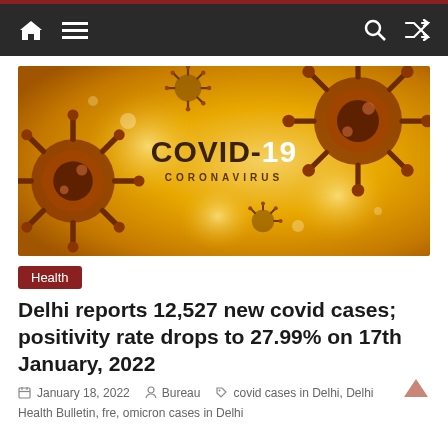Navigation bar with home, menu, search, and shuffle icons
[Figure (illustration): COVID-19 Coronavirus banner image with golden/amber background showing multiple coronavirus particle illustrations with spikes, centered text reads COVID-19 CORONAVIRUS]
Health
Delhi reports 12,527 new covid cases; positivity rate drops to 27.99% on 17th January, 2022
January 18, 2022   Bureau   covid cases in Delhi, Delhi
Health Bulletin, fre, omicron cases in Delhi